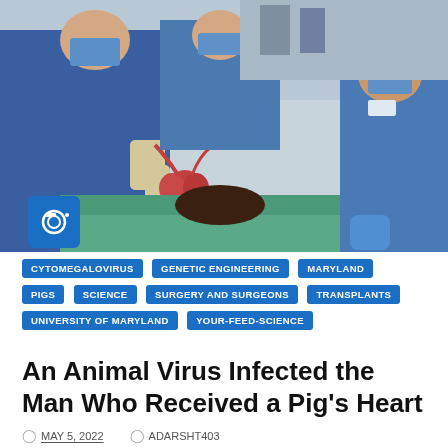[Figure (photo): Medical professionals in surgical scrubs and masks performing what appears to be a heart transplant procedure, with one surgeon holding a pig heart over a patient draped in teal surgical covering.]
CYTOMEGALOVIRUS
GENETIC ENGINEERING
MARYLAND
PIGS
SCIENCE
SURGERY AND SURGEONS
TRANSPLANTS
UNIVERSITY OF MARYLAND
YOUR-FEED-SCIENCE
An Animal Virus Infected the Man Who Received a Pig's Heart
MAY 5, 2022   ADARSHT403